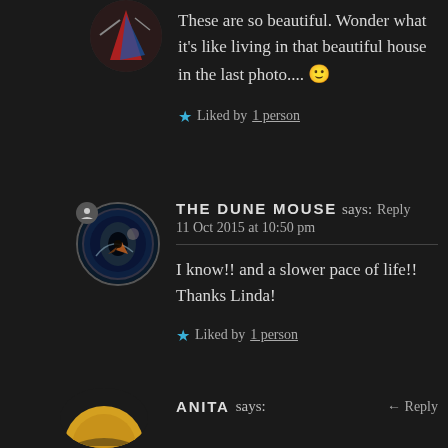These are so beautiful. Wonder what it’s like living in that beautiful house in the last photo.... 🙂
★ Liked by 1 person
THE DUNE MOUSE says: Reply
11 Oct 2015 at 10:50 pm
I know!! and a slower pace of life!! Thanks Linda!
★ Liked by 1 person
ANITA says: Reply